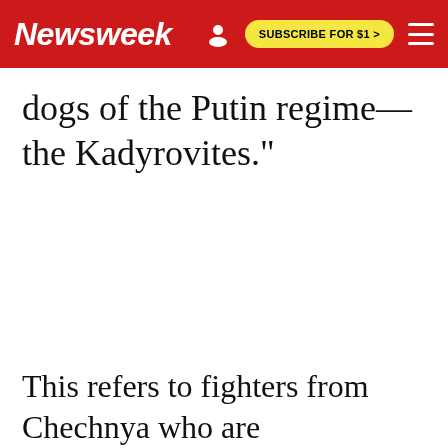Newsweek | SUBSCRIBE FOR $1 >
dogs of the Putin regime—the Kadyrovites."
This refers to fighters from Chechnya who are